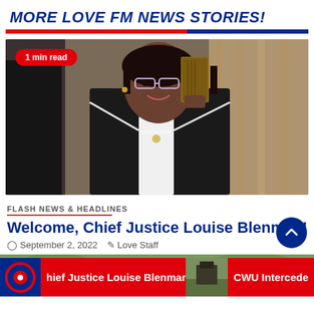MORE LOVE FM NEWS STORIES!
[Figure (photo): Woman in black blazer with white trim, holding a book up, wearing glasses, smiling. Badge reads '1 min read'.]
FLASH NEWS & HEADLINES
Welcome, Chief Justice Louise Blenman!
September 2, 2022 | Love Staff
[Figure (photo): Bottom ticker bar showing Love FM logo, headline 'Chief Justice Louise Blenman!' and 'CWU Intercede' with thumbnail.]